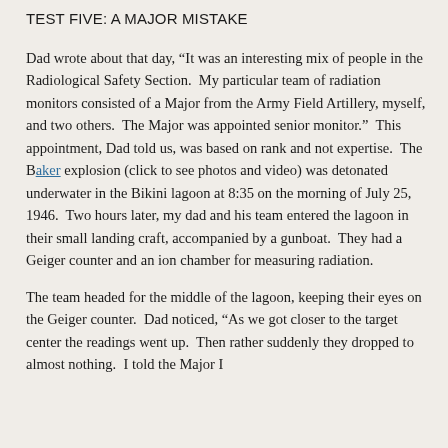TEST FIVE: A MAJOR MISTAKE
Dad wrote about that day, “It was an interesting mix of people in the Radiological Safety Section.  My particular team of radiation monitors consisted of a Major from the Army Field Artillery, myself, and two others.  The Major was appointed senior monitor.”  This appointment, Dad told us, was based on rank and not expertise.  The Baker explosion (click to see photos and video) was detonated underwater in the Bikini lagoon at 8:35 on the morning of July 25, 1946.  Two hours later, my dad and his team entered the lagoon in their small landing craft, accompanied by a gunboat.  They had a Geiger counter and an ion chamber for measuring radiation.
The team headed for the middle of the lagoon, keeping their eyes on the Geiger counter.  Dad noticed, “As we got closer to the target center the readings went up.  Then rather suddenly they dropped to almost nothing.  I told the Major I